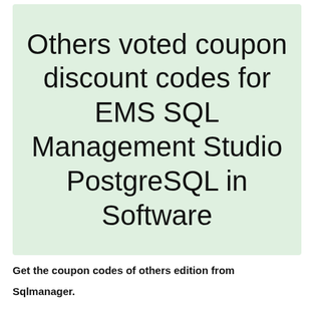Others voted coupon discount codes for EMS SQL Management Studio PostgreSQL in Software
Get the coupon codes of others edition from Sqlmanager.